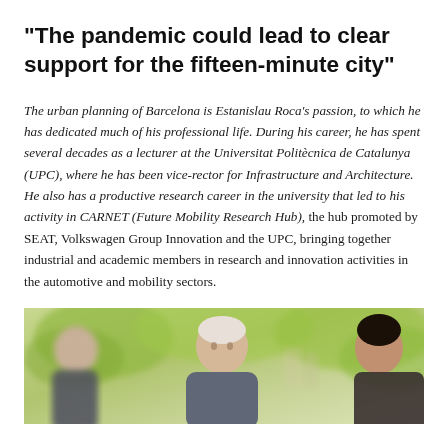“The pandemic could lead to clear support for the fifteen-minute city”
The urban planning of Barcelona is Estanislau Roca’s passion, to which he has dedicated much of his professional life. During his career, he has spent several decades as a lecturer at the Universitat Politècnica de Catalunya (UPC), where he has been vice-rector for Infrastructure and Architecture. He also has a productive research career in the university that led to his activity in CARNET (Future Mobility Research Hub), the hub promoted by SEAT, Volkswagen Group Innovation and the UPC, bringing together industrial and academic members in research and innovation activities in the automotive and mobility sectors.
[Figure (photo): Outdoor photograph showing two or three people standing outdoors with green foliage visible in the background. The image is partially cropped showing figures from approximately mid-torso up.]